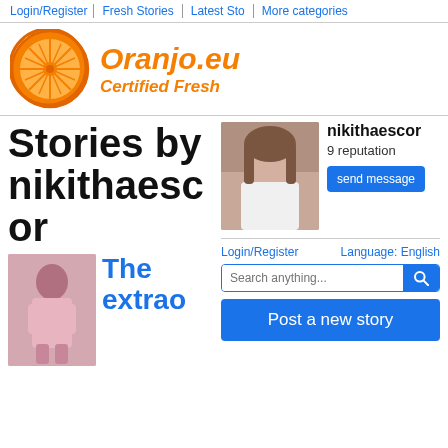Login/Register | Fresh Stories | Latest Sto | More categories
[Figure (logo): Oranjo.eu orange slice logo with text Oranjo.eu and Certified Fresh]
Stories by nikithaescor
[Figure (photo): Profile photo of a person in white shirt]
nikithaescor
9 reputation
send message
Login/Register
Language: English
Search anything...
Post a new story
[Figure (photo): Person in pink outfit sitting]
The extrao